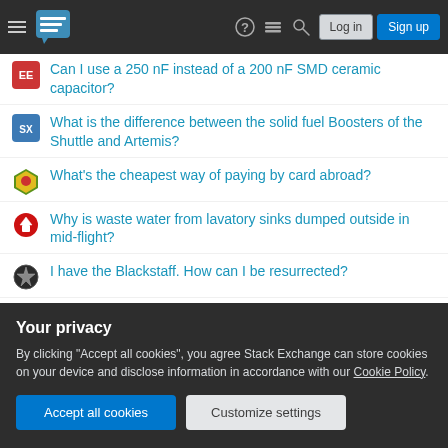Stack Exchange — Log in | Sign up
Can I use a 250 nF instead of a 200 nF SMD ceramic capacitor?
What is the difference between the solid fuel Boosters of the Shuttle and Artemis?
What's the cheapest way of paying by card abroad?
Why is waste water from lavatory sinks dumped outside in mid-flight?
I have the Blackstaff. How can I be resurrected?
Trim_reason = DICTIONARY_SIZE on Clustered ColumnStore index
The Oracle's IQ Test
Do I always need a comma after a person's name?
How does one refer to "raisins" in French?
Your privacy
By clicking "Accept all cookies", you agree Stack Exchange can store cookies on your device and disclose information in accordance with our Cookie Policy.
Accept all cookies | Customize settings